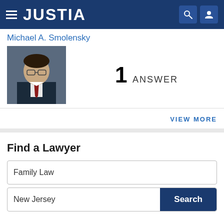JUSTIA
Michael A. Smolensky
[Figure (photo): Professional headshot of Michael A. Smolensky, a man wearing glasses, suit and red tie]
1 ANSWER
VIEW MORE
Find a Lawyer
Family Law
New Jersey
Search
Lawyers - Get Listed Now!
Get a free directory profile listing